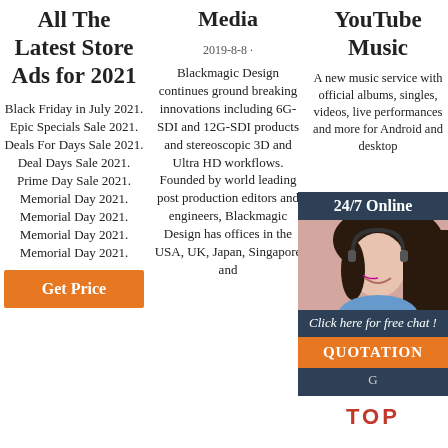All The Latest Store Ads for 2021
Black Friday in July 2021. Epic Specials Sale 2021. Deals For Days Sale 2021. Deal Days Sale 2021. Prime Day Sale 2021. Memorial Day 2021. Memorial Day 2021. Memorial Day 2021. Memorial Day 2021.
[Figure (other): Orange 'Get Price' button]
Media
2019-8-8 ·
Blackmagic Design continues ground breaking innovations including 6G-SDI and 12G-SDI products and stereoscopic 3D and Ultra HD workflows. Founded by world leading post production editors and engineers, Blackmagic Design has offices in the USA, UK, Japan, Singapore and
YouTube Music
A new music service with official albums, singles, videos, live performances and more for Android and desktop
[Figure (other): 24/7 Online chat widget overlay with woman wearing headset, 'Click here for free chat!', QUOTATION button, and G... button]
[Figure (other): TOP icon with orange dots arc above red TOP text]